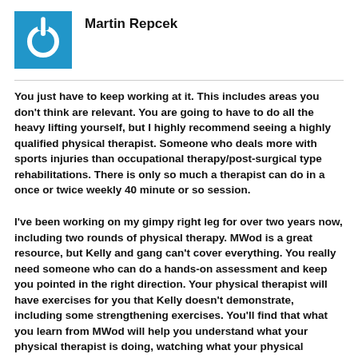[Figure (logo): Blue square icon with a white power/circle symbol]
Martin Repcek
You just have to keep working at it. This includes areas you don't think are relevant. You are going to have to do all the heavy lifting yourself, but I highly recommend seeing a highly qualified physical therapist. Someone who deals more with sports injuries than occupational therapy/post-surgical type rehabilitations. There is only so much a therapist can do in a once or twice weekly 40 minute or so session.
I've been working on my gimpy right leg for over two years now, including two rounds of physical therapy. MWod is a great resource, but Kelly and gang can't cover everything. You really need someone who can do a hands-on assessment and keep you pointed in the right direction. Your physical therapist will have exercises for you that Kelly doesn't demonstrate, including some strengthening exercises. You'll find that what you learn from MWod will help you understand what your physical therapist is doing, watching what your physical therapist does will help